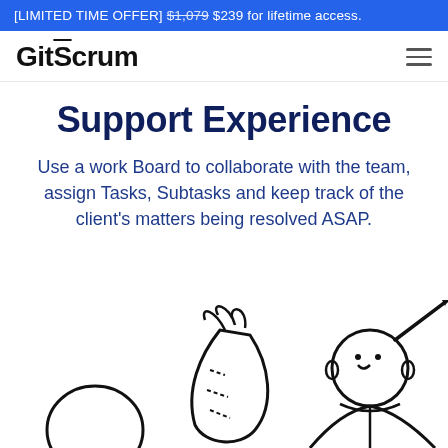[LIMITED TIME OFFER] $1,079 $239 for lifetime access.
[Figure (logo): GitScrum logo with overline on letter S]
Support Experience
Use a work Board to collaborate with the team, assign Tasks, Subtasks and keep track of the client's matters being resolved ASAP.
[Figure (illustration): Line art illustration showing cartoon characters with vegetables and a person writing]